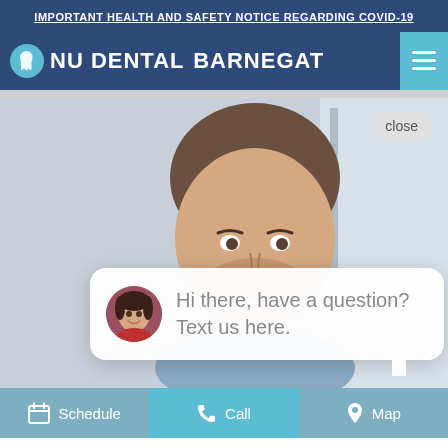IMPORTANT HEALTH AND SAFETY NOTICE REGARDING COVID-19
NU DENTAL BARNEGAT
[Figure (screenshot): Website screenshot showing a dental practice homepage with a man's face photo, a chat bubble reading 'Hi there, have a question? Text us here.' with a female avatar, and a close button. Bottom navigation bar with Schedule, Call, and Map options.]